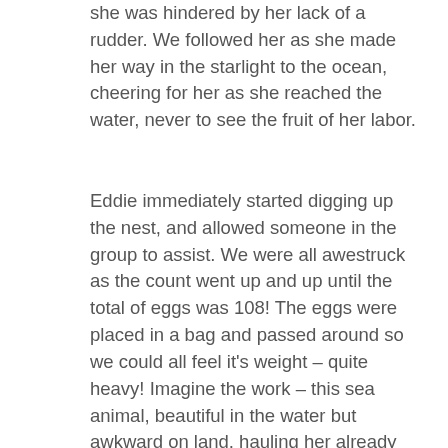she was hindered by her lack of a rudder. We followed her as she made her way in the starlight to the ocean, cheering for her as she reached the water, never to see the fruit of her labor.
Eddie immediately started digging up the nest, and allowed someone in the group to assist. We were all awestruck as the count went up and up until the total of eggs was 108! The eggs were placed in a bag and passed around so we could all feel it's weight – quite heavy! Imagine the work – this sea animal, beautiful in the water but awkward on land, hauling her already heavy body, made even heavier with these eggs,50 feet over land before releasing them from her body and returning to the sea.